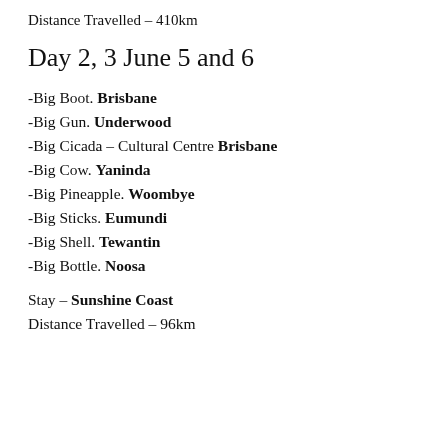Distance Travelled – 410km
Day 2, 3 June 5 and 6
-Big Boot. Brisbane
-Big Gun. Underwood
-Big Cicada – Cultural Centre Brisbane
-Big Cow. Yaninda
-Big Pineapple. Woombye
-Big Sticks. Eumundi
-Big Shell. Tewantin
-Big Bottle. Noosa
Stay – Sunshine Coast
Distance Travelled – 96km